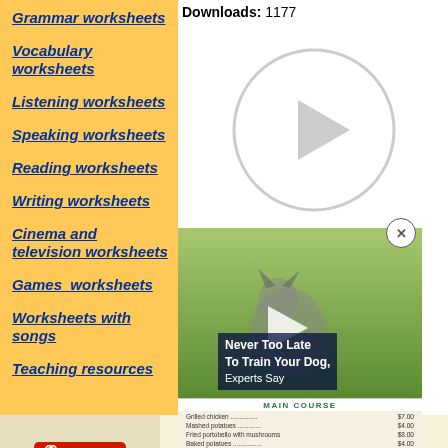Grammar worksheets
Vocabulary worksheets
Listening worksheets
Speaking worksheets
Reading worksheets
Writing worksheets
Cinema and television worksheets
Games  worksheets
Worksheets with songs
Teaching resources
Downloads: 1177
[Figure (screenshot): Video play button circle overlay on white background]
[Figure (screenshot): Video ad overlay showing a dog on grass with play button and text: Never Too Late To Train Your Dog, Experts Say. Close button (X in circle) visible.]
[Figure (screenshot): Restaurant menu image showing MAIN COURSE header with food items and prices]
[Figure (screenshot): BitLife advertisement banner with Murder / Do it! text and close buttons]